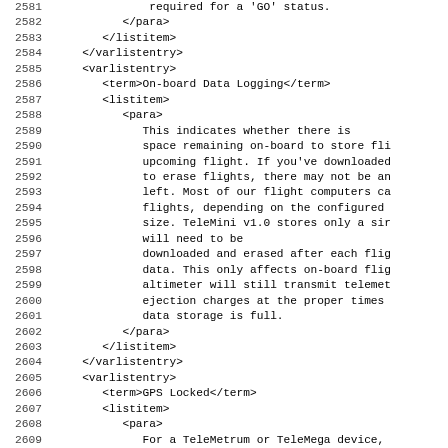Source code / XML listing with line numbers 2581-2612, showing DocBook XML markup for flight computer documentation including On-board Data Logging and GPS Locked varlistentry elements.